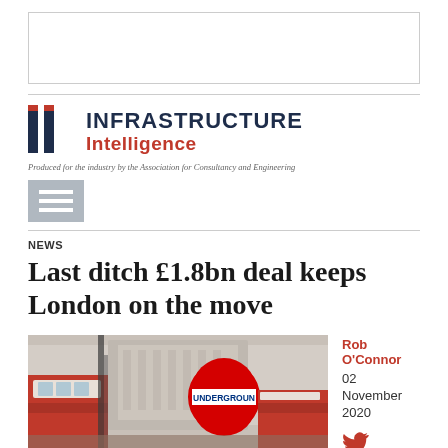[Figure (other): Advertisement banner placeholder — white rectangle with grey border]
[Figure (logo): Infrastructure Intelligence logo — black I icon with dark navy 'INFRASTRUCTURE' and red 'Intelligence' text]
Produced for the industry by the Association for Consultancy and Engineering
[Figure (other): Hamburger menu icon — three white horizontal lines on grey background]
NEWS
Last ditch £1.8bn deal keeps London on the move
[Figure (photo): Photo of London street scene showing a red double-decker bus and a London Underground roundel sign with 'UNDERGROUN' visible]
Rob O'Connor
02 November 2020